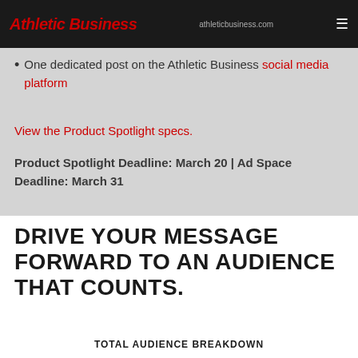Athletic Business | athleticbusiness.com
One dedicated post on the Athletic Business social media platform
View the Product Spotlight specs.
Product Spotlight Deadline: March 20 | Ad Space Deadline: March 31
DRIVE YOUR MESSAGE FORWARD TO AN AUDIENCE THAT COUNTS.
TOTAL AUDIENCE BREAKDOWN